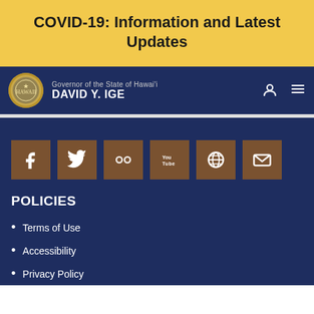COVID-19: Information and Latest Updates
Governor of the State of Hawai'i DAVID Y. IGE
[Figure (infographic): Six social media icon buttons: Facebook, Twitter, Flickr, YouTube, Globe/Web, Email — brown square buttons with white icons]
POLICIES
Terms of Use
Accessibility
Privacy Policy